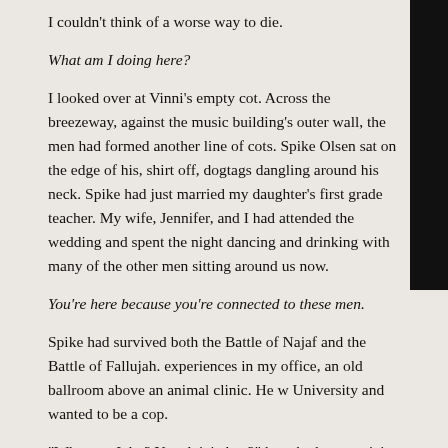I couldn't think of a worse way to die.
What am I doing here?
I looked over at Vinni's empty cot. Across the breezeway, against the music building's outer wall, the men had formed another line of cots. Spike Olsen sat on the edge of his, shirt off, dogtags dangling around his neck. Spike had just married my daughter's first grade teacher. My wife, Jennifer, and I had attended the wedding and spent the night dancing and drinking with many of the other men sitting around us now.
You're here because you're connected to these men.
Spike had survived both the Battle of Najaf and the Battle of Fallujah. experiences in my office, an old ballroom above an animal clinic. He w University and wanted to be a cop.
“What up, John? You doin’ okay?” he asked me, noticing my gaze.
“Doin’ great,” I lied.